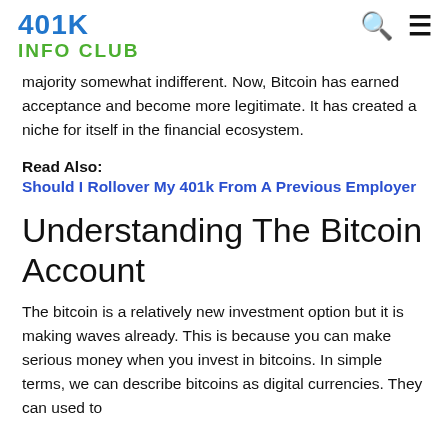401K INFO CLUB
majority somewhat indifferent. Now, Bitcoin has earned acceptance and become more legitimate. It has created a niche for itself in the financial ecosystem.
Read Also:
Should I Rollover My 401k From A Previous Employer
Understanding The Bitcoin Account
The bitcoin is a relatively new investment option but it is making waves already. This is because you can make serious money when you invest in bitcoins. In simple terms, we can describe bitcoins as digital currencies. They can used to